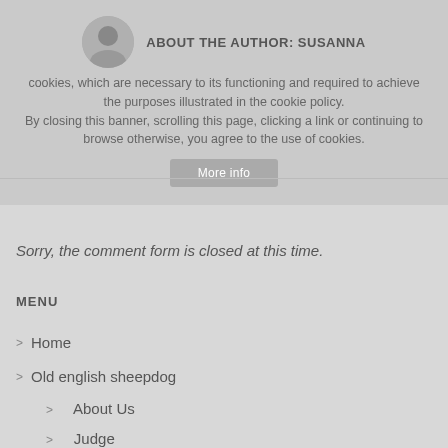ABOUT THE AUTHOR: SUSANNA
cookies, which are necessary to its functioning and required to achieve the purposes illustrated in the cookie policy. By closing this banner, scrolling this page, clicking a link or continuing to browse otherwise, you agree to the use of cookies.
More info
Sorry, the comment form is closed at this time.
MENU
Home
Old english sheepdog
About Us
Judge